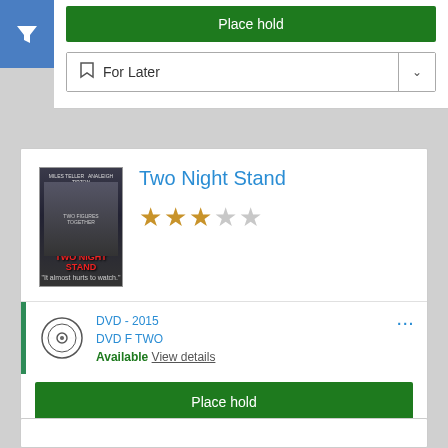[Figure (screenshot): Blue filter button with funnel icon in top left corner]
Place hold
For Later
Two Night Stand
[Figure (illustration): DVD cover for Two Night Stand movie]
3 out of 5 stars rating
DVD - 2015
DVD F TWO
Available View details
Place hold